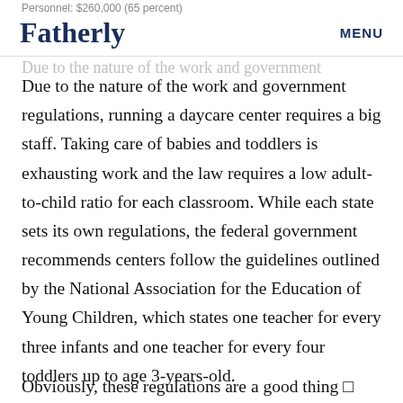Personnel: $260,000 (65 percent)
Fatherly   MENU
Due to the nature of the work and government regulations, running a daycare center requires a big staff. Taking care of babies and toddlers is exhausting work and the law requires a low adult-to-child ratio for each classroom. While each state sets its own regulations, the federal government recommends centers follow the guidelines outlined by the National Association for the Education of Young Children, which states one teacher for every three infants and one teacher for every four toddlers up to age 3-years-old.
Obviously, these regulations are a good thing — nobody wants to drop their kid at a center where one